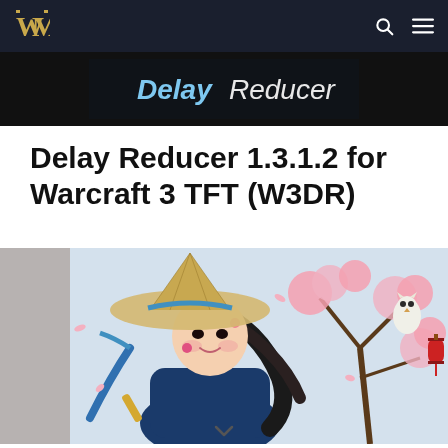WM logo navigation bar with search and menu icons
[Figure (screenshot): Banner image showing 'Delay Reducer' text on dark background]
Delay Reducer 1.3.1.2 for Warcraft 3 TFT (W3DR)
[Figure (illustration): Illustrated artwork of an Asian girl in traditional clothing with a conical hat, holding a blue sword/fan, with cherry blossoms and a white owl in the background]